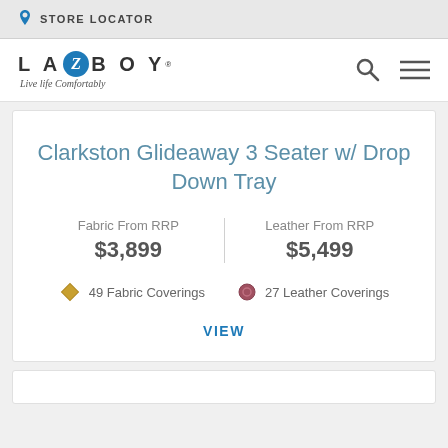STORE LOCATOR
[Figure (logo): La-Z-Boy logo with tagline 'Live life comfortably']
Clarkston Glideaway 3 Seater w/ Drop Down Tray
Fabric From RRP $3,899
Leather From RRP $5,499
49 Fabric Coverings
27 Leather Coverings
VIEW